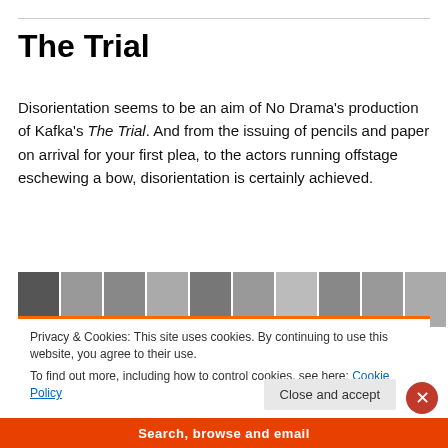The Trial
Disorientation seems to be an aim of No Drama's production of Kafka's The Trial. And from the issuing of pencils and paper on arrival for your first plea, to the actors running offstage eschewing a bow, disorientation is certainly achieved.
[Figure (photo): A strip of black and white photographs showing outdoor scenes with trees and figures, arranged in a grid-like horizontal band.]
Privacy & Cookies: This site uses cookies. By continuing to use this website, you agree to their use.
To find out more, including how to control cookies, see here: Cookie Policy
Close and accept